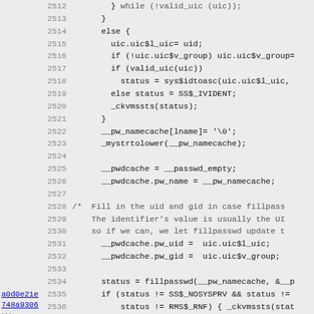[Figure (screenshot): Source code listing showing C code lines 2512-2544, with line numbers on left, some lines annotated with commit hash 'a0d0e21e748a9306 LW' in left margin. Code shows logic for filling UIC fields, pw_namecache, pwdcache, and fillpasswd call, ending with my_getpwuid() close brace and a comment about getting information for next user.]